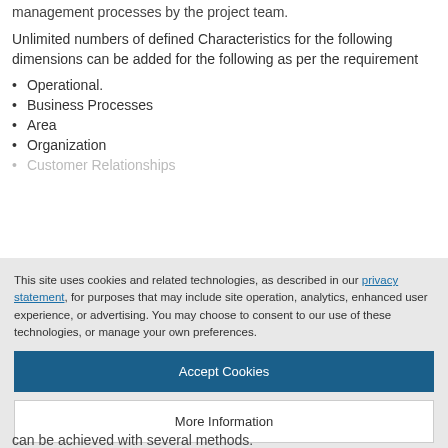management processes by the project team.
Unlimited numbers of defined Characteristics for the following dimensions can be added for the following as per the requirement
Operational.
Business Processes
Area
Organization
Customer Relationships (partial, cut off)
This site uses cookies and related technologies, as described in our privacy statement, for purposes that may include site operation, analytics, enhanced user experience, or advertising. You may choose to consent to our use of these technologies, or manage your own preferences.
Accept Cookies
More Information
Privacy Policy | Powered by: TrustArc
can be achieved with several methods.